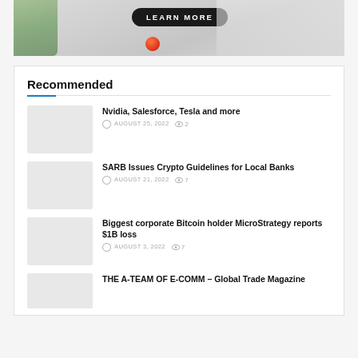[Figure (photo): Advertisement banner with a dark 'LEARN MORE' button, a red tomato, and plant elements on a light background]
Recommended
Nvidia, Salesforce, Tesla and more
AUGUST 25, 2022  2
SARB Issues Crypto Guidelines for Local Banks
AUGUST 21, 2022  7
Biggest corporate Bitcoin holder MicroStrategy reports $1B loss
AUGUST 3, 2022  7
THE A-TEAM OF E-COMM – Global Trade Magazine